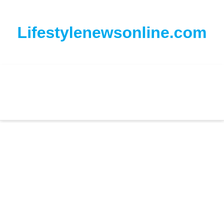Lifestylenewsonline.com
[Figure (other): Hamburger menu icon with three horizontal black lines, positioned in the upper right of the navigation bar]